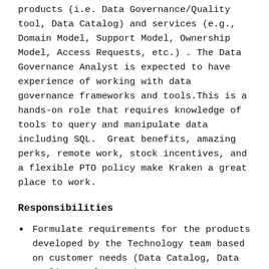products (i.e. Data Governance/Quality tool, Data Catalog) and services (e.g., Domain Model, Support Model, Ownership Model, Access Requests, etc.) . The Data Governance Analyst is expected to have experience of working with data governance frameworks and tools.This is a hands-on role that requires knowledge of tools to query and manipulate data including SQL.  Great benefits, amazing perks, remote work, stock incentives, and a flexible PTO policy make Kraken a great place to work.
Responsibilities
Formulate requirements for the products developed by the Technology team based on customer needs (Data Catalog, Data Quality Tool, etc.)
Develop a good technical understanding of